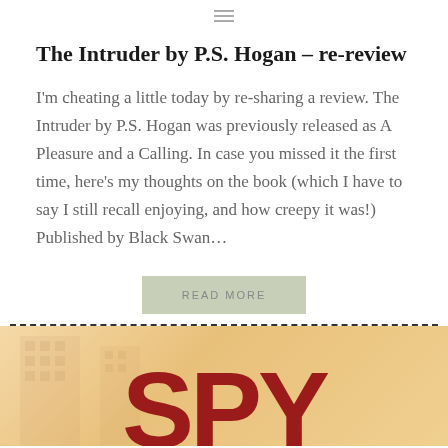≡
The Intruder by P.S. Hogan – re-review
I'm cheating a little today by re-sharing a review. The Intruder by P.S. Hogan was previously released as A Pleasure and a Calling. In case you missed it the first time, here's my thoughts on the book (which I have to say I still recall enjoying, and how creepy it was!) Published by Black Swan…
READ MORE
[Figure (photo): Book cover showing large red letters spelling SPY on a warm beige/golden background with faint building imagery]